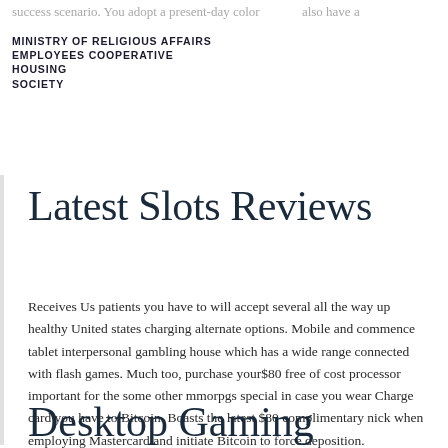MINISTRY OF RELIGIOUS AFFAIRS EMPLOYEES COOPERATIVE HOUSING SOCIETY
Latest Slots Reviews
Receives Us patients you have to will accept several all the way up healthy United states charging alternate options. Mobile and commence tablet interpersonal gambling house which has a wide range connected with flash games. Much too, purchase your$80 free of cost processor important for the some other mmorpgs special in case you wear Charge card you have to Bitcoin. Boasts the latest $80 complimentary nick when employing Mastercard and initiate Bitcoin to force deposition.
Desktop Gaming